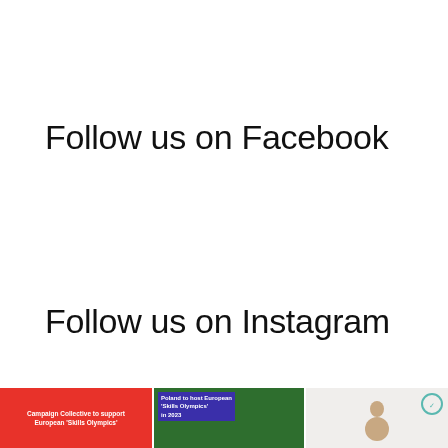Follow us on Facebook
Follow us on Instagram
[Figure (screenshot): Three Instagram post thumbnails: first is a red background card with text 'Campaign Collective to support European Skills Olympics'; second is a green background card with purple overlay text 'Poland to host European Skills Olympics in 2023'; third is a light beige card showing a person with a teal circular badge logo.]